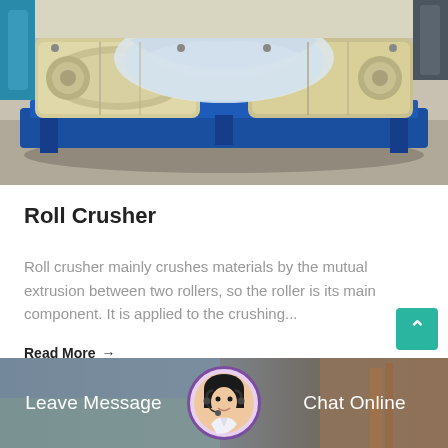[Figure (photo): Industrial roll crusher machine — large cylindrical rollers/equipment mounted on a blue metal frame/base, wrapped in plastic, photographed in a warehouse or factory setting]
Roll Crusher
Roll crusher mainly crushes materials by the mutual extrusion between two rollers, so the roller is its main component. It is applied to the crushing...
Read More →
[Figure (photo): Bottom banner with customer service representative avatar and two call-to-action buttons: Leave Message and Chat Online]